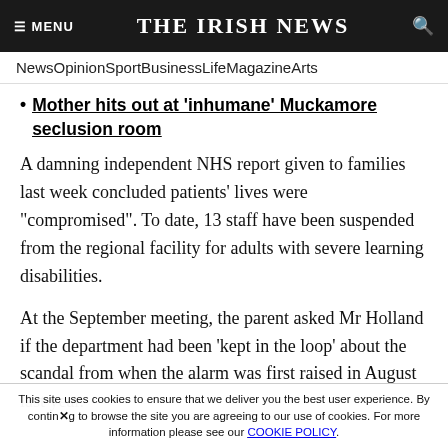☰ MENU   THE IRISH NEWS   🔍
News  Opinion  Sport  Business  Life  Magazine  Arts
Mother hits out at 'inhumane' Muckamore seclusion room
A damning independent NHS report given to families last week concluded patients' lives were "compromised". To date, 13 staff have been suspended from the regional facility for adults with severe learning disabilities.
At the September meeting, the parent asked Mr Holland if the department had been 'kept in the loop' about the scandal from when the alarm was first raised in August last year.
This site uses cookies to ensure that we deliver you the best user experience. By continuing to browse the site you are agreeing to our use of cookies. For more information please see our COOKIE POLICY.